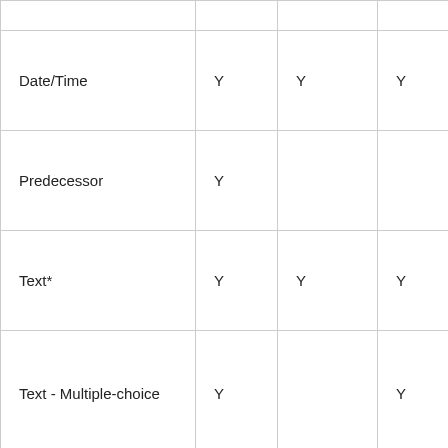| Date/Time | Y | Y | Y |
| Predecessor | Y |  |  |
| Text* | Y | Y | Y |
| Text - Multiple-choice | Y |  | Y |
| Multi-select Text | Y |  |  |